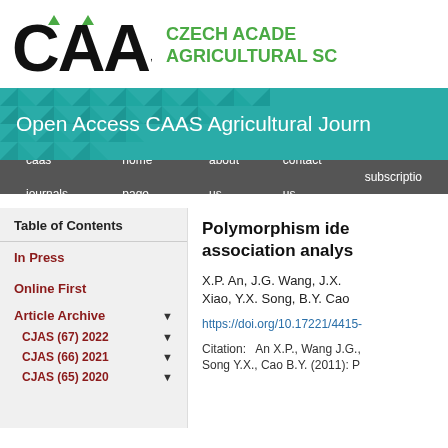[Figure (logo): CAAS logo with Czech Academy of Agricultural Sciences text in green]
[Figure (illustration): Open Access CAAS Agricultural Journals banner with teal geometric pattern background]
caas journals   home page   about us   contact us   subscription
Table of Contents
In Press
Online First
Article Archive
CJAS (67) 2022
CJAS (66) 2021
CJAS (65) 2020
Polymorphism identification and association analysis
X.P. An, J.G. Wang, J.X. Xiao, Y.X. Song, B.Y. Cao
https://doi.org/10.17221/4415-
Citation:   An X.P., Wang J.G., Song Y.X., Cao B.Y. (2011): P